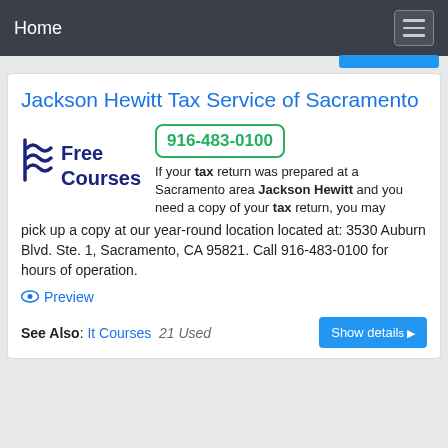Home
Jackson Hewitt Tax Service of Sacramento
[Figure (logo): Free Courses logo with wave/flag graphic in dark blue]
916-483-0100
If your tax return was prepared at a Sacramento area Jackson Hewitt and you need a copy of your tax return, you may pick up a copy at our year-round location located at: 3530 Auburn Blvd. Ste. 1, Sacramento, CA 95821. Call 916-483-0100 for hours of operation.
Preview
See Also: It Courses  21 Used